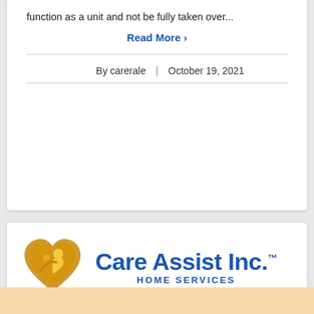function as a unit and not be fully taken over...
Read More ›
By carerale | October 19, 2021
[Figure (logo): Care Assist Inc. Home Services logo — gold heart/people icon on left, blue bold text 'Care Assist Inc.' with TM mark, subtitle 'HOME SERVICES' in blue capital letters]